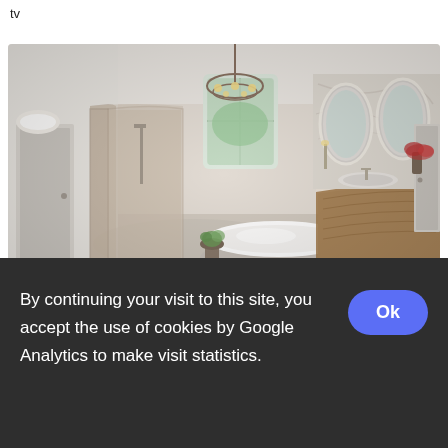tv
[Figure (photo): A panoramic/360-degree photo of a luxury bathroom featuring a curved glass shower enclosure on the left, a freestanding white bathtub in the center with a chandelier above, and a curved wooden vanity with illuminated mirrors on the right. The room has white walls, marble-like tile, and warm lighting.]
A bathroom with a sink and a mirror
By continuing your visit to this site, you accept the use of cookies by Google Analytics to make visit statistics.